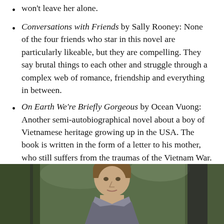won't leave her alone.
Conversations with Friends by Sally Rooney: None of the four friends who star in this novel are particularly likeable, but they are compelling. They say brutal things to each other and struggle through a complex web of romance, friendship and everything in between.
On Earth We're Briefly Gorgeous by Ocean Vuong: Another semi-autobiographical novel about a boy of Vietnamese heritage growing up in the USA. The book is written in the form of a letter to his mother, who still suffers from the traumas of the Vietnam War. Vuong is a poet, so the language is gorgeous (excuse the pun) throughout.
[Figure (photo): A man with medium-length brown hair, photographed from approximately chest level, with a blurred green outdoor background visible behind him.]